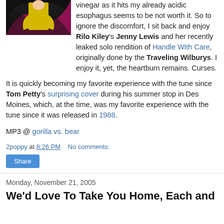[Figure (illustration): Illustrated image of a person in colorful outfit against a black and pink swirling background]
vinegar as it hits my already acidic esophagus seems to be not worth it. So to ignore the discomfort, I sit back and enjoy Rilo Kiley's Jenny Lewis and her recently leaked solo rendition of Handle With Care, originally done by the Traveling Wilburys. I enjoy it, yet, the heartburn remains. Curses.
It is quickly becoming my favorite experience with the tune since Tom Petty's surprising cover during his summer stop in Des Moines, which, at the time, was my favorite experience with the tune since it was released in 1988.
MP3 @ gorilla vs. bear
2poppy at 8:26 PM    No comments:
Share
Monday, November 21, 2005
We'd Love To Take You Home, Each and